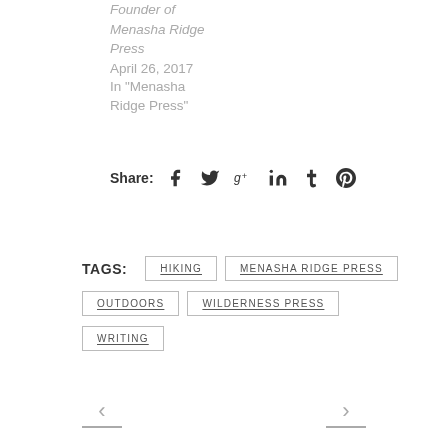Founder of Menasha Ridge Press
April 26, 2017
In "Menasha Ridge Press"
Share:
TAGS: HIKING  MENASHA RIDGE PRESS  OUTDOORS  WILDERNESS PRESS  WRITING